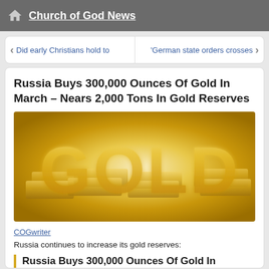Church of God News
Did early Christians hold to
'German state orders crosses
Russia Buys 300,000 Ounces Of Gold In March – Nears 2,000 Tons In Gold Reserves
[Figure (illustration): Decorative image showing the word GOLD in large letters with gold bars behind it, set against a warm glowing background]
COGwriter
Russia continues to increase its gold reserves:
Russia Buys 300,000 Ounces Of Gold In